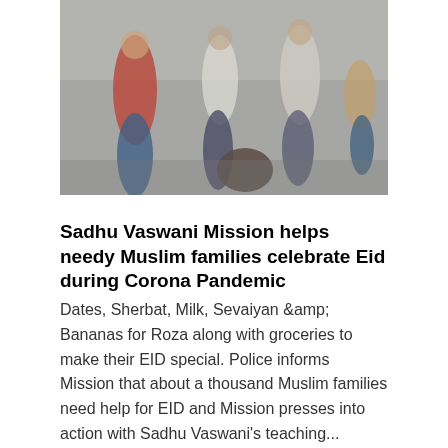[Figure (photo): A blurred outdoor photograph showing several people standing/walking on a gray pavement. One person is wearing a red top, another in jeans and white jacket, others partially visible.]
Sadhu Vaswani Mission helps needy Muslim families celebrate Eid during Corona Pandemic
Dates, Sherbat, Milk, Sevaiyan &amp; Bananas for Roza along with groceries to make their EID special. Police informs Mission that about a thousand Muslim families need help for EID and Mission presses into action with Sadhu Vaswani's teaching...